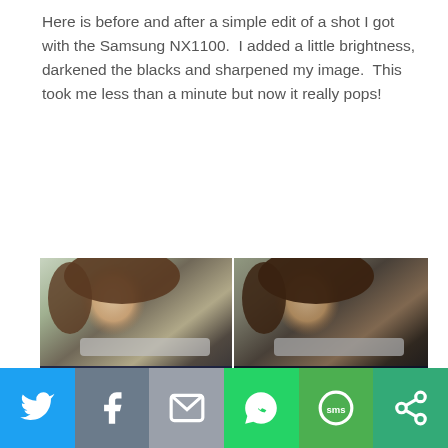Here is before and after a simple edit of a shot I got with the Samsung NX1100.  I added a little brightness, darkened the blacks and sharpened my image.  This took me less than a minute but now it really pops!
[Figure (photo): Side-by-side before and after photo of a child eating from a spoon. Left half labeled 'Before' in cyan italic text, right half labeled 'After' in cyan italic text. The after version appears darker/more contrast than the before.]
[Figure (infographic): Social sharing bar with six buttons: Twitter (blue bird icon), Facebook (grey f icon), Email (grey envelope icon), WhatsApp (green phone icon), SMS (green sms bubble icon), and another share icon (teal/green).]